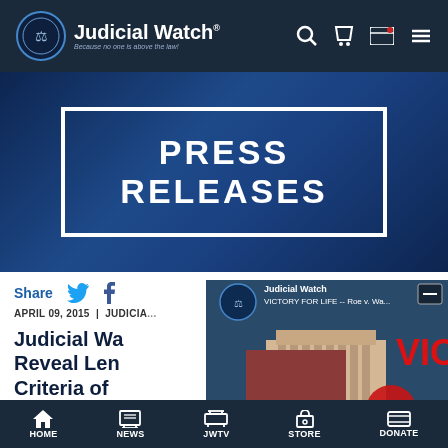Judicial Watch — Because no one is above the law!
PRESS RELEASES
Share
APRIL 09, 2015 | JUDICIAL WATCH
Judicial Watch Reveal Len… Criteria of…
[Figure (screenshot): YouTube video thumbnail showing Judicial Watch video titled 'VICTORY FOR LIFE -- Roe v. Wa...' with a man in a red shirt in front of the Supreme Court building. Red text reads 'VIC' on the right side with YouTube play button overlay.]
HOME | NEWS | JWTV | STORE | DONATE